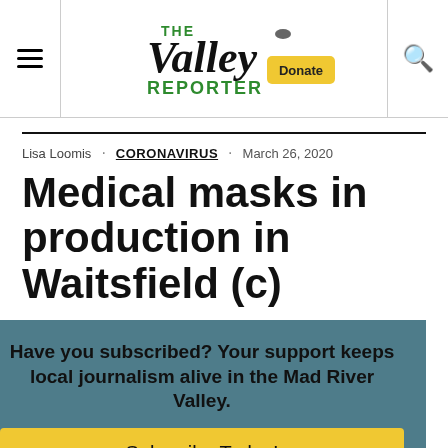The Valley Reporter — Donate — Navigation
Lisa Loomis · CORONAVIRUS · March 26, 2020
Medical masks in production in Waitsfield (c)
Have you subscribed? Your support keeps local journalism alive in the Mad River Valley.
Subscribe Today!